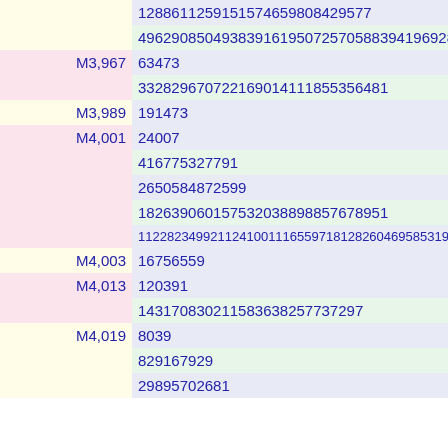|  |  | 128861125915157465980842957​7 |
|  |  | 496290850493839161950725705883941969289 |
|  | M3,967 | 63473 |
|  |  | 332829670722169014111855356481 |
|  | M3,989 | 191473 |
|  | M4,001 | 24007 |
|  |  | 416775327791 |
|  |  | 2650584872599 |
|  |  | 182639060157532038898857678951 |
|  |  | 11228234992112410011165597181282604695853​19 |
|  | M4,003 | 16756559 |
|  | M4,013 | 120391 |
|  |  | 143170830211583638257737297 |
|  | M4,019 | 8039 |
|  |  | 829167929 |
|  |  | 29895702681 |